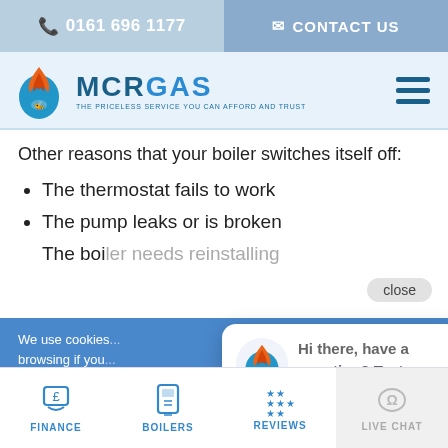📞 0161 696 1177 | ✉ CONTACT US
[Figure (logo): MCR GAS logo with flame/droplet icon and tagline 'THE PRICELESS SERVICE YOU CAN AFFORD AND TRUST']
Other reasons that your boiler switches itself off:
The thermostat fails to work
The pump leaks or is broken
The close button overlay (partially visible)
close
We use cookies... browsing if you...
[Figure (screenshot): Chat popup with MCR Gas flame logo and text: Hi there, have a question? Text us here.]
FINANCE | BOILERS | REVIEWS | LIVE CHAT